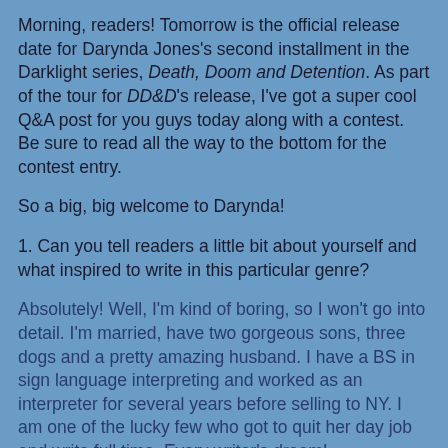Morning, readers! Tomorrow is the official release date for Darynda Jones's second installment in the Darklight series, Death, Doom and Detention. As part of the tour for DD&D's release, I've got a super cool Q&A post for you guys today along with a contest. Be sure to read all the way to the bottom for the contest entry.
So a big, big welcome to Darynda!
1. Can you tell readers a little bit about yourself and what inspired to write in this particular genre?
Absolutely! Well, I'm kind of boring, so I won't go into detail. I'm married, have two gorgeous sons, three dogs and a pretty amazing husband. I have a BS in sign language interpreting and worked as an interpreter for several years before selling to NY. I am one of the lucky few who got to quit her day job and write full time. Every writer's dream!
As for this genre, I simply love it. The very first scary movie I ever saw was an old black and white vampire movie and I've